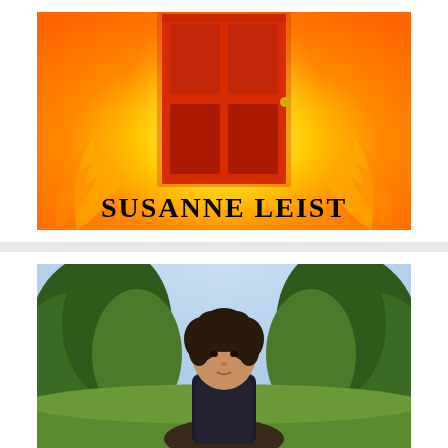[Figure (illustration): Book cover image with a red door surrounded by orange and yellow flames on a bright background. Author name 'SUSANNE LEIST' appears in large black serif text at the bottom of the cover.]
[Figure (photo): Portrait photo of a person with dark curly hair, outdoors with green trees and a blue sky in the background.]